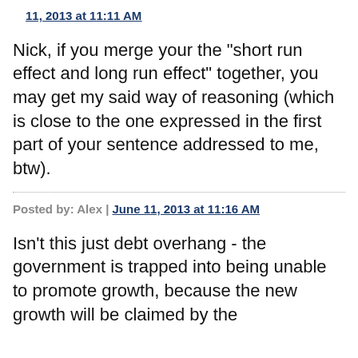11, 2013 at 11:11 AM
Nick, if you merge your the "short run effect and long run effect" together, you may get my said way of reasoning (which is close to the one expressed in the first part of your sentence addressed to me, btw).
Posted by: Alex | June 11, 2013 at 11:16 AM
Isn't this just debt overhang - the government is trapped into being unable to promote growth, because the new growth will be claimed by the